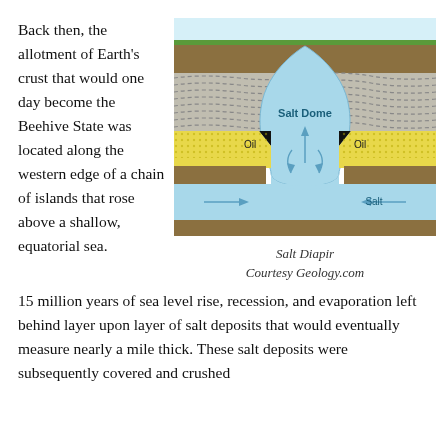Back then, the allotment of Earth's crust that would one day become the Beehive State was located along the western edge of a chain of islands that rose above a shallow, equatorial sea.
[Figure (schematic): Geological cross-section diagram of a Salt Diapir showing layers of earth, a blue salt dome rising upward through rock layers, yellow oil deposits on either side, blue salt layer at the bottom with arrows indicating horizontal pressure, and upward arrows showing salt movement. Labels: 'Salt Dome', 'Oil' (left), 'Oil' (right), 'Salt'.]
Salt Diapir
Courtesy Geology.com
15 million years of sea level rise, recession, and evaporation left behind layer upon layer of salt deposits that would eventually measure nearly a mile thick. These salt deposits were subsequently covered and crushed